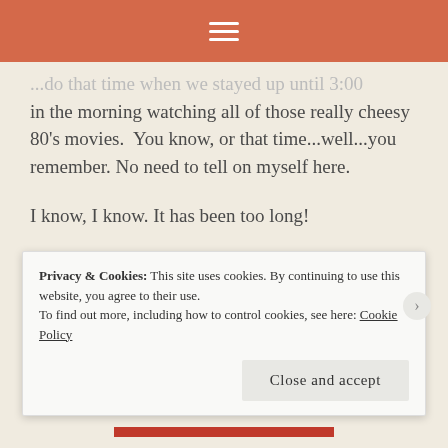≡
...do that time when we stayed up until 3:00 in the morning watching all of those really cheesy 80's movies. You know, or that time...well...you remember. No need to tell on myself here.
I know, I know. It has been too long!
I wanted to try and explain to you the reason for my absence. It's not you. It's me. Well...no, it isn't. It is those two little people who live with us.
You're probably wondering a few things. You know...
Privacy & Cookies: This site uses cookies. By continuing to use this website, you agree to their use.
To find out more, including how to control cookies, see here: Cookie Policy
Close and accept